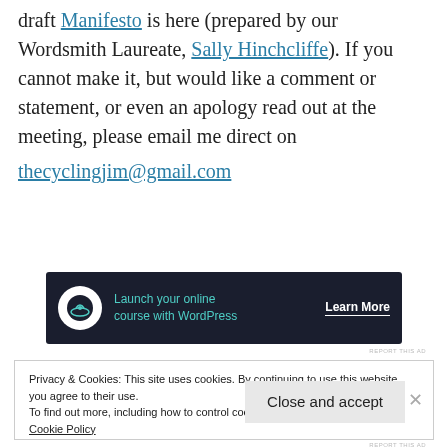draft Manifesto is here (prepared by our Wordsmith Laureate, Sally Hinchcliffe). If you cannot make it, but would like a comment or statement, or even an apology read out at the meeting, please email me direct on thecyclingjim@gmail.com
[Figure (other): Dark banner advertisement: 'Launch your online course with WordPress' with a Learn More button]
Privacy & Cookies: This site uses cookies. By continuing to use this website, you agree to their use.
To find out more, including how to control cookies, see here:
Cookie Policy